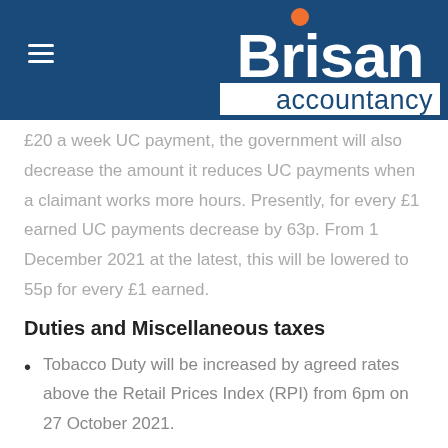Brisan accountancy
£20 a week UC payment, the government will also decrease the amount it reduces UC payments when a claimant works more hours. Presently, for every £1 earned UC payments decrease by 63p. From 1 December 2021 at the latest, this will be lowered to 55p for every £1 earned.
Duties and Miscellaneous taxes
Tobacco Duty will be increased by agreed rates above the Retail Prices Index (RPI) from 6pm on 27 October 2021.
Alcohol duty rates will be frozen.